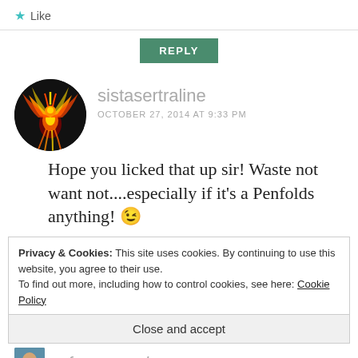★ Like
REPLY
[Figure (photo): Circular avatar image of a phoenix bird made of fire on dark background]
sistasertraline
OCTOBER 27, 2014 AT 9:33 PM
Hope you licked that up sir! Waste not want not....especially if it's a Penfolds anything! 😉
Privacy & Cookies: This site uses cookies. By continuing to use this website, you agree to their use.
To find out more, including how to control cookies, see here: Cookie Policy
Close and accept
a funny angle